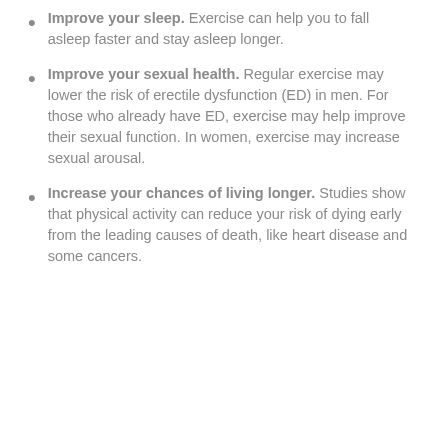Improve your sleep. Exercise can help you to fall asleep faster and stay asleep longer.
Improve your sexual health. Regular exercise may lower the risk of erectile dysfunction (ED) in men. For those who already have ED, exercise may help improve their sexual function. In women, exercise may increase sexual arousal.
Increase your chances of living longer. Studies show that physical activity can reduce your risk of dying early from the leading causes of death, like heart disease and some cancers.